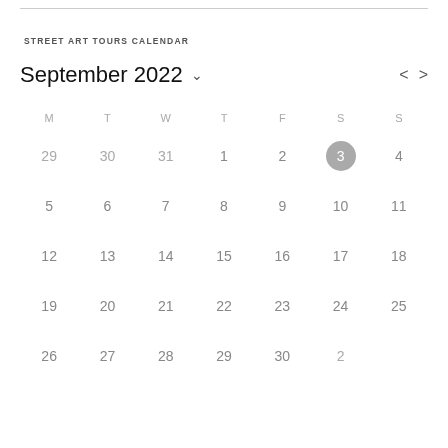STREET ART TOURS CALENDAR
September 2022
| M | T | W | T | F | S | S |
| --- | --- | --- | --- | --- | --- | --- |
| 29 | 30 | 31 | 1 | 2 | 3 | 4 |
| 5 | 6 | 7 | 8 | 9 | 10 | 11 |
| 12 | 13 | 14 | 15 | 16 | 17 | 18 |
| 19 | 20 | 21 | 22 | 23 | 24 | 25 |
| 26 | 27 | 28 | 29 | 30 | 2 |  |